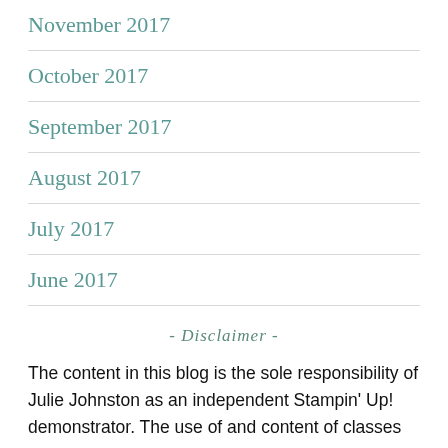November 2017
October 2017
September 2017
August 2017
July 2017
June 2017
- Disclaimer -
The content in this blog is the sole responsibility of Julie Johnston as an independent Stampin' Up! demonstrator. The use of and content of classes